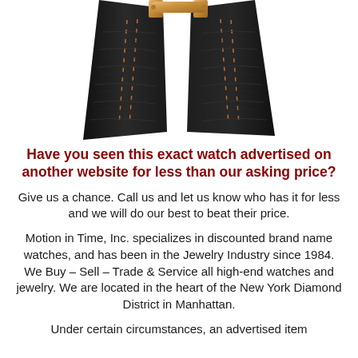[Figure (photo): Close-up photo of a luxury watch with rose gold case and black crocodile leather strap with orange stitching, photographed from the side/angle showing the strap and case.]
Have you seen this exact watch advertised on another website for less than our asking price?
Give us a chance. Call us and let us know who has it for less and we will do our best to beat their price.
Motion in Time, Inc. specializes in discounted brand name watches, and has been in the Jewelry Industry since 1984. We Buy – Sell – Trade & Service all high-end watches and jewelry. We are located in the heart of the New York Diamond District in Manhattan.
Under certain circumstances, an advertised item may be...